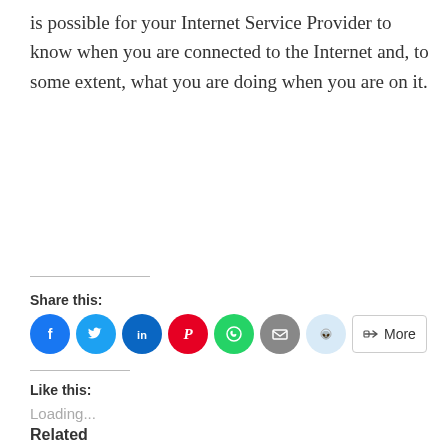is possible for your Internet Service Provider to know when you are connected to the Internet and, to some extent, what you are doing when you are on it.
Share this:
[Figure (infographic): Row of social sharing icon buttons: Facebook (blue circle with f), Twitter (blue circle with bird), LinkedIn (dark blue circle with in), Pinterest (red circle with P), WhatsApp (green circle with phone), Email (grey circle with envelope), Reddit (light blue circle with alien), and a More button with share icon]
Like this:
Loading...
Related
[Figure (photo): Photo of a woman with dramatic makeup (dark hair)]